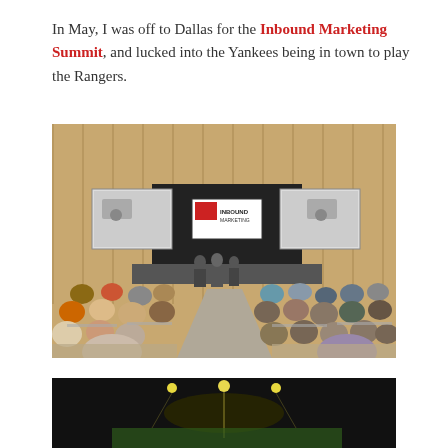In May, I was off to Dallas for the Inbound Marketing Summit, and lucked into the Yankees being in town to play the Rangers.
[Figure (photo): Conference room photo showing an audience seated at tables facing a stage with presenters and projection screens at the Inbound Marketing Summit in Dallas. The room has wood-paneled walls and the audience is viewed from behind.]
[Figure (photo): Partial photo showing a dark scene, likely a baseball stadium at night (Yankees vs Rangers game at Dallas).]